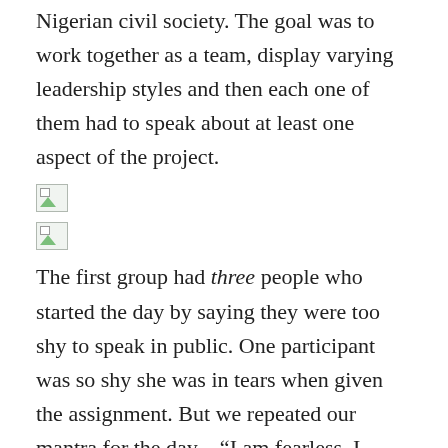Nigerian civil society. The goal was to work together as a team, display varying leadership styles and then each one of them had to speak about at least one aspect of the project.
[Figure (photo): Broken/missing image placeholder 1]
[Figure (photo): Broken/missing image placeholder 2]
The first group had three people who started the day by saying they were too shy to speak in public. One participant was so shy she was in tears when given the assignment. But we repeated our mantra for the day – "I am fearless. I